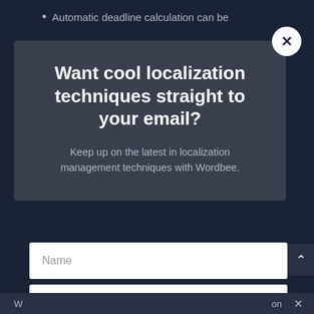Automatic deadline calculation can be
Want cool localization techniques straight to your email?
Keep up on the latest in localization management techniques with Wordbee.
[Figure (screenshot): Email subscription form with Name field, Email field, and green SUBSCRIBE! button]
W
on